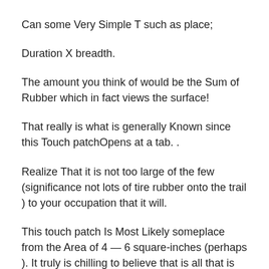Can some Very Simple T such as place;
Duration X breadth.
The amount you think of would be the Sum of Rubber which in fact views the surface!
That really is what is generally Known since this Touch patchOpens at a tab. .
Realize That it is not too large of the few (significance not lots of tire rubber onto the trail ) to your occupation that it will.
This touch patch Is Most Likely someplace from the Area of 4 — 6 square-inches (perhaps ). It truly is chilling to believe that is all that is holding one in the street!